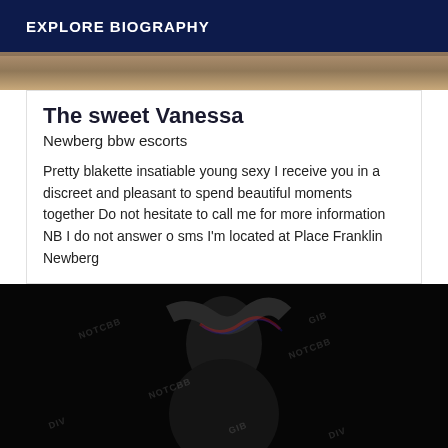EXPLORE BIOGRAPHY
[Figure (photo): Top partial photo strip showing warm-toned skin/outdoor background, partially cropped]
The sweet Vanessa
Newberg bbw escorts
Pretty blakette insatiable young sexy I receive you in a discreet and pleasant to spend beautiful moments together Do not hesitate to call me for more information NB I do not answer o sms I'm located at Place Franklin Newberg
[Figure (photo): Dark watermarked photo showing a person in dim lighting with glitch/red-blue chromatic aberration effect, multiple NOTCBB watermarks visible]